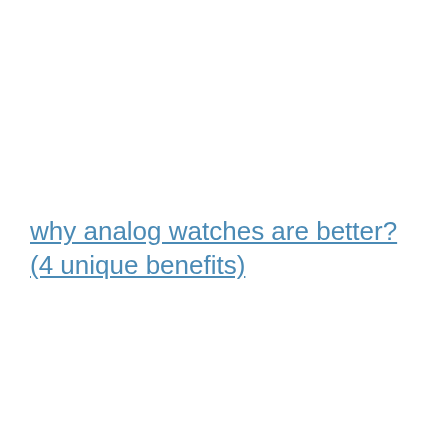why analog watches are better? (4 unique benefits)